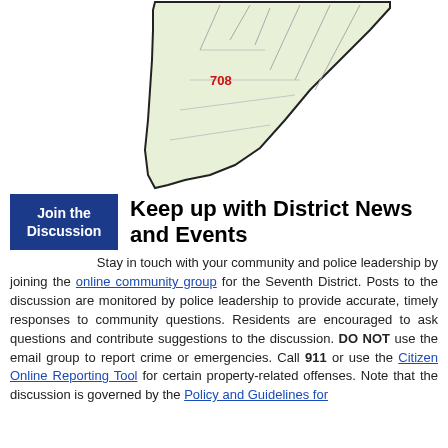[Figure (map): A map showing a police district boundary (District 7/708), outlined in black with a light green fill, with road lines and a red label '708' indicating the district number.]
Keep up with District News and Events
Stay in touch with your community and police leadership by joining the online community group for the Seventh District. Posts to the discussion are monitored by police leadership to provide accurate, timely responses to community questions. Residents are encouraged to ask questions and contribute suggestions to the discussion. DO NOT use the email group to report crime or emergencies. Call 911 or use the Citizen Online Reporting Tool for certain property-related offenses. Note that the discussion is governed by the Policy and Guidelines for